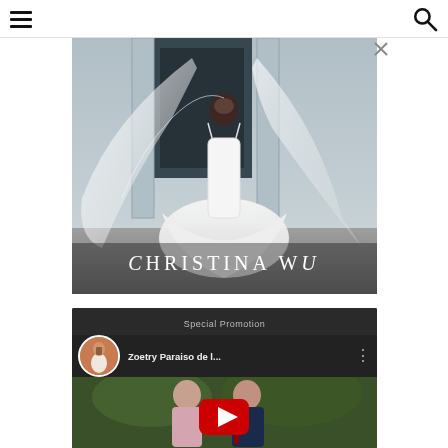Navigation header with hamburger menu and search icon
[Figure (photo): Christina Wu bridal advertisement showing a bride in a white ball gown wedding dress with a long flowing veil, standing in front of classical columns. The brand name CHRISTINA WU appears at the bottom of the image.]
[Figure (screenshot): YouTube video embed with 'Special Promotion' label at top, showing a Brides magazine channel thumbnail, title 'Zoetry Paraiso de l...' with three-dot menu, and a video still of a couple in outdoor setting with a red YouTube play button overlay.]